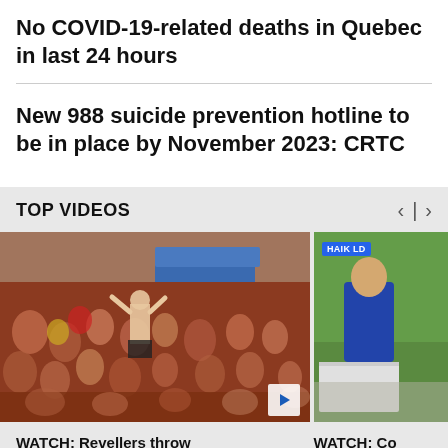No COVID-19-related deaths in Quebec in last 24 hours
New 988 suicide prevention hotline to be in place by November 2023: CRTC
TOP VIDEOS
[Figure (photo): Crowd of people at a festival with a blue truck, one shirtless person standing in the middle. A play button is visible in the bottom right corner.]
[Figure (photo): Partially visible second video thumbnail with a 'HAIK LD' label, showing a person in a blue jacket outdoors on green grass.]
WATCH: Revellers throw
WATCH: Co